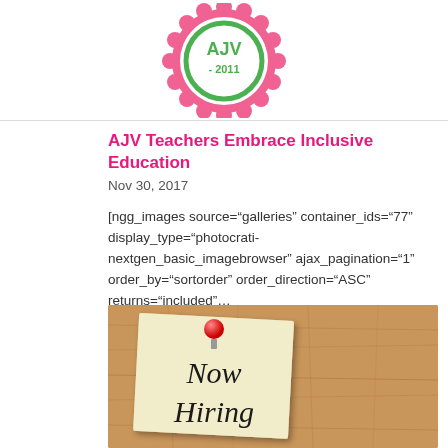[Figure (logo): AJV 2011 circular badge/seal logo with pink and green colors at top of page]
AJV Teachers Embrace Inclusive Education
Nov 30, 2017
[ngg_images source="galleries" container_ids="77" display_type="photocrati-nextgen_basic_imagebrowser" ajax_pagination="1" order_by="sortorder" order_direction="ASC" returns="included"...
[Figure (photo): Corkboard with a paper note pinned by a red pushpin reading 'Now Hiring']